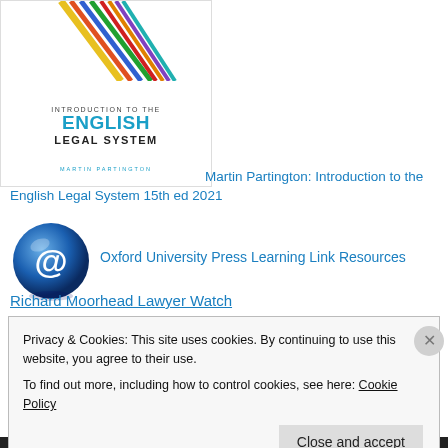[Figure (photo): Book cover of 'Introduction to the English Legal System' by Martin Partington, showing coloured pencils at the top and title text below.]
Martin Partington: Introduction to the English Legal System 15th ed 2021
[Figure (logo): Blue @ symbol globe icon for Oxford University Press Learning Link Resources]
Oxford University Press Learning Link Resources
Richard Moorhead Lawyer Watch
UK Administrative Justice Institute
Privacy & Cookies: This site uses cookies. By continuing to use this website, you agree to their use.
To find out more, including how to control cookies, see here: Cookie Policy
Close and accept